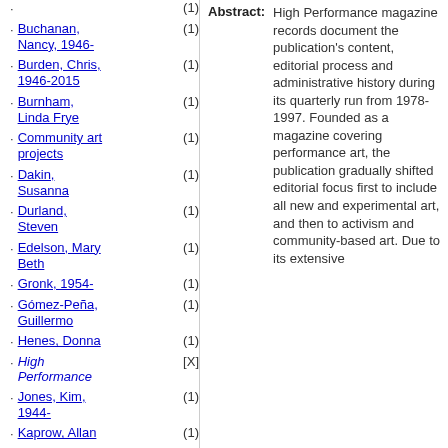Buchanan, Nancy, 1946- (1)
Burden, Chris, 1946-2015 (1)
Burnham, Linda Frye (1)
Community art projects (1)
Dakin, Susanna (1)
Durland, Steven (1)
Edelson, Mary Beth (1)
Gronk, 1954- (1)
Gómez-Peña, Guillermo (1)
Henes, Donna (1)
High Performance [X]
Jones, Kim, 1944- (1)
Kaprow, Allan (1)
Lacy, Suzanne (1)
McCarthy, Paul, 1945- (1)
Nitsch (1)
Abstract: High Performance magazine records document the publication's content, editorial process and administrative history during its quarterly run from 1978-1997. Founded as a magazine covering performance art, the publication gradually shifted editorial focus first to include all new and experimental art, and then to activism and community-based art. Due to its extensive